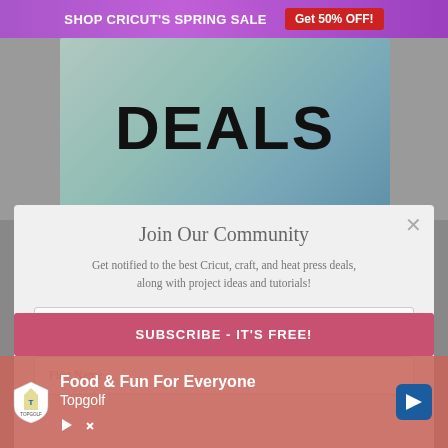[Figure (screenshot): Screenshot of a website showing a spring sale banner at the top with purple background reading 'SHOP CRICUT'S SPRING SALE' and a red button 'Get 50% OFF!', below that a promotional image showing the word 'DEALS' in large bold text over craft supply background, followed by a modal popup titled 'Join Our Community' with email and first name input fields and a subscribe button, and an overlapping Topgolf advertisement banner at the bottom.]
SHOP CRICUT'S SPRING SALE   Get 50% OFF!
Join Our Community
Get notified to the best Cricut, craft, and heat press deals, along with project ideas and tutorials!
Email Address
First Name
SUBSCRIBE - IT'S FREE!
Food & Fun For Everyone
Topgolf